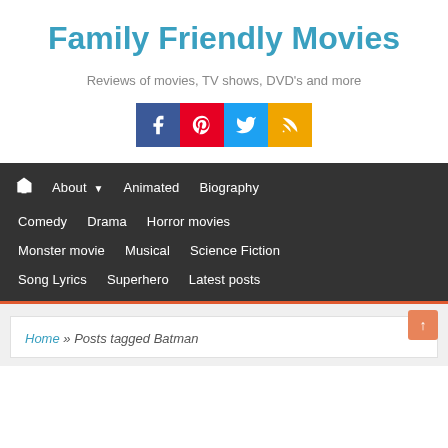Family Friendly Movies
Reviews of movies, TV shows, DVD's and more
[Figure (infographic): Four social media icons: Facebook (blue), Pinterest (red), Twitter (cyan), RSS (yellow/orange)]
Home | About | Animated | Biography | Comedy | Drama | Horror movies | Monster movie | Musical | Science Fiction | Song Lyrics | Superhero | Latest posts
Home » Posts tagged Batman